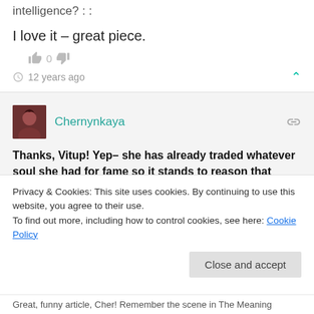intelligence? :
I love it – great piece.
0
12 years ago
Chernynkaya
Thanks, Vitup! Yep– she has already traded whatever soul she had for fame so it stands to reason that she'd opt for chump change over brains!
0
Privacy & Cookies: This site uses cookies. By continuing to use this website, you agree to their use.
To find out more, including how to control cookies, see here: Cookie Policy
Close and accept
Great, funny article, Cher! Remember the scene in The Meaning